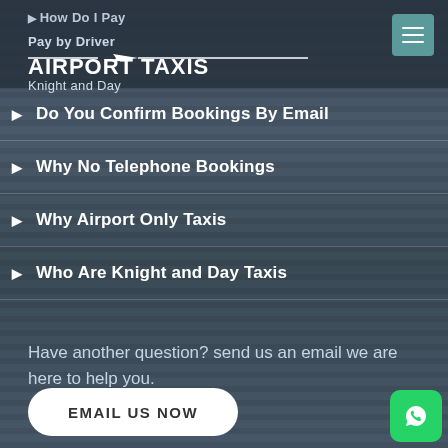How Do I Pay
AIRPORT TAXIS Knight and Day
Do You Confirm Bookings By Email
Why No Telephone Bookings
Why Airport Only Taxis
Who Are Knight and Day Taxis
Have another question? send us an email we are here to help you.
EMAIL US NOW